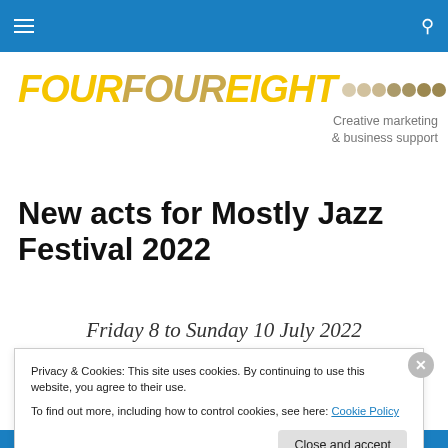Navigation bar with hamburger menu and search icon
[Figure (logo): FOURFOUREIGHT logo with dot pattern and tagline 'Creative marketing & business support']
New acts for Mostly Jazz Festival 2022
Friday 8 to Sunday 10 July 2022
Privacy & Cookies: This site uses cookies. By continuing to use this website, you agree to their use. To find out more, including how to control cookies, see here: Cookie Policy
Close and accept